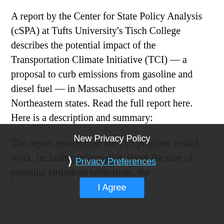A report by the Center for State Policy Analysis (cSPA) at Tufts University's Tisch College describes the potential impact of the Transportation Climate Initiative (TCI) — a proposal to curb emissions from gasoline and diesel fuel — in Massachusetts and other Northeastern states. Read the full report here. Here is a description and summary:
The report details how the TCI program would work, including information about the size of potential emissions reductions, the public health benefits, new state revenues and possible increases to average gasoline prices.
This analysis focuses on states in New England and the Mid Atlantic.
New Privacy Policy
Privacy Preferences
I Agree